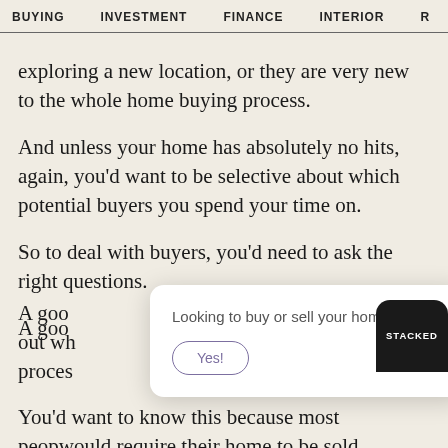BUYING   INVESTMENT   FINANCE   INTERIOR   R
exploring a new location, or they are very new to the whole home buying process.
And unless your home has absolutely no hits, again, you'd want to be selective about which potential buyers you spend your time on.
So to deal with buyers, you'd need to ask the right questions.
A good [way to start was to find] out wh[ether they were early in their] process[...]
[Figure (other): Modal popup with text 'Looking to buy or sell your home?' and a 'Yes!' button with rounded border. A close (x) button is in the top-right corner.]
You'd want to know this because most peop[le] would require their home to be sold first be[fore] buying (partly because of the ABSD rule, and also